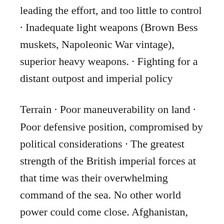leading the effort, and too little to control · Inadequate light weapons (Brown Bess muskets, Napoleonic War vintage), superior heavy weapons. · Fighting for a distant outpost and imperial policy
Terrain · Poor maneuverability on land · Poor defensive position, compromised by political considerations · The greatest strength of the British imperial forces at that time was their overwhelming command of the sea. No other world power could come close. Afghanistan, however, offered no access by sea and thereby neutralized